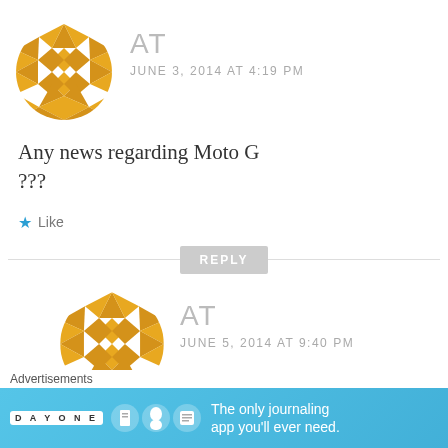[Figure (illustration): Orange geometric star/diamond pattern avatar icon, circular shape]
AT
JUNE 3, 2014 AT 4:19 PM
Any news regarding Moto G ???
Like
REPLY
[Figure (illustration): Orange geometric star/diamond pattern avatar icon, circular shape, smaller]
AT
JUNE 5, 2014 AT 9:40 PM
Advertisements
[Figure (screenshot): Day One journaling app advertisement banner on blue background: 'The only journaling app you'll ever need.']